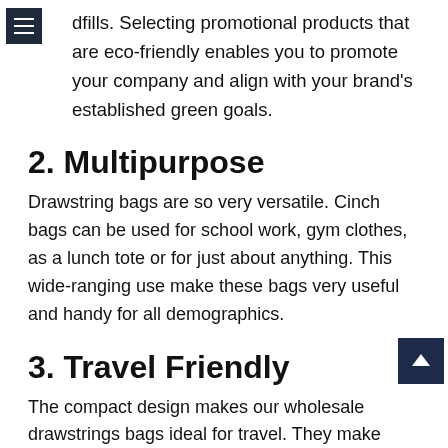≡
dfills. Selecting promotional products that are eco-friendly enables you to promote your company and align with your brand's established green goals.
2. Multipurpose
Drawstring bags are so very versatile. Cinch bags can be used for school work, gym clothes, as a lunch tote or for just about anything. This wide-ranging use make these bags very useful and handy for all demographics.
3. Travel Friendly
The compact design makes our wholesale drawstrings bags ideal for travel. They make great overnight totes and can even be used for carry-on bags. They are big enough to hold the essentials, but still compact enough to not weigh you down. The wearable design also